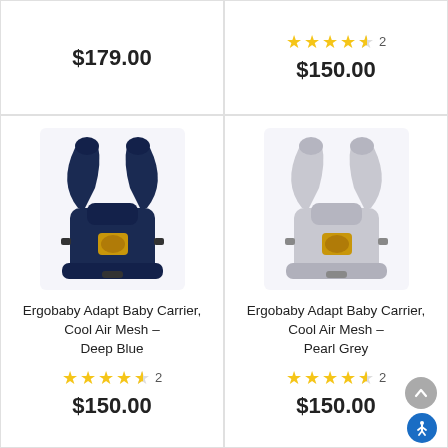$179.00
[Figure (other): Star rating: 4.5 stars, 2 reviews; Price $150.00]
[Figure (photo): Ergobaby Adapt Baby Carrier, Cool Air Mesh – Deep Blue (navy blue carrier)]
Ergobaby Adapt Baby Carrier, Cool Air Mesh – Deep Blue
4.5 stars, 2 reviews
$150.00
[Figure (photo): Ergobaby Adapt Baby Carrier, Cool Air Mesh – Pearl Grey (light grey carrier)]
Ergobaby Adapt Baby Carrier, Cool Air Mesh – Pearl Grey
4.5 stars, 2 reviews
$150.00